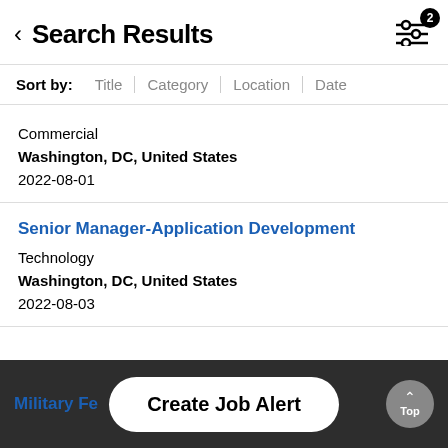Search Results
Sort by: Title | Category | Location | Date
Commercial
Washington, DC, United States
2022-08-01
Senior Manager-Application Development
Technology
Washington, DC, United States
2022-08-03
Military Fe...
Create Job Alert